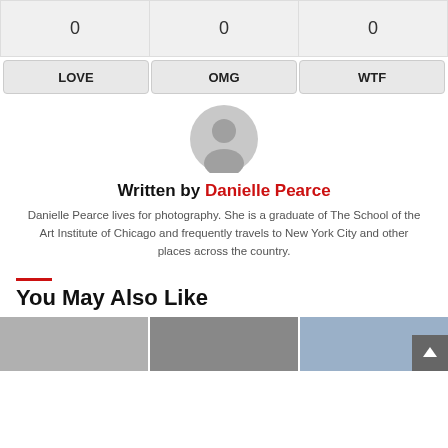| 0 | 0 | 0 |
| LOVE | OMG | WTF |
[Figure (illustration): Gray circular avatar/profile placeholder icon]
Written by Danielle Pearce
Danielle Pearce lives for photography. She is a graduate of The School of the Art Institute of Chicago and frequently travels to New York City and other places across the country.
You May Also Like
[Figure (photo): Thumbnail images for related articles at bottom of page]